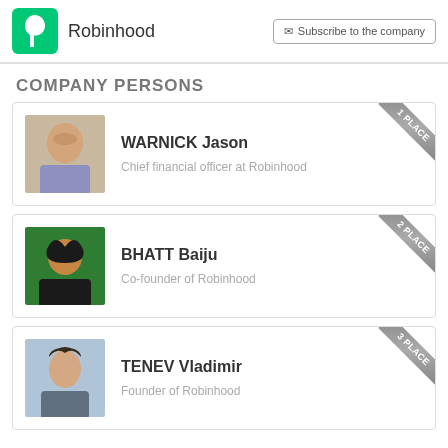[Figure (logo): Robinhood green feather logo with company name and Subscribe button in header]
COMPANY PERSONS
[Figure (photo): Photo of WARNICK Jason, smiling man outdoors]
WARNICK Jason
Chief financial officer at Robinhood
[Figure (photo): Photo of BHATT Baiju, man with long dark hair]
BHATT Baiju
Co-founder of Robinhood
[Figure (photo): Photo of TENEV Vladimir, young man with dark hair]
TENEV Vladimir
Founder of Robinhood